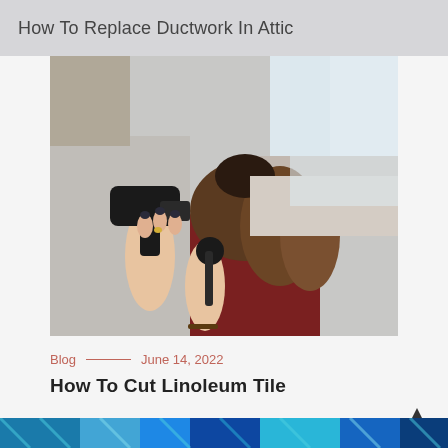How To Replace Ductwork In Attic
[Figure (photo): A hairstylist using a round brush and blow dryer to style a client's brown hair in a salon setting. The stylist is wearing a grey top with dark painted nails and a bracelet. The client is in a red top seated in a salon chair.]
Blog — June 14, 2022
How To Cut Linoleum Tile
[Figure (photo): Bottom strip of a blue-toned image, partially visible at the bottom of the page.]